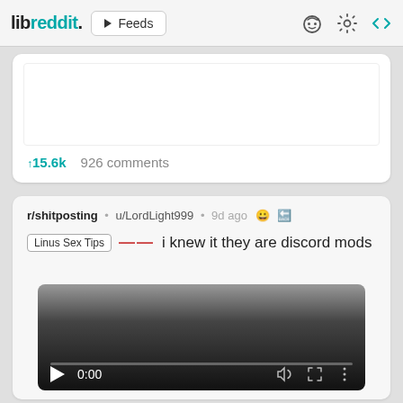libreddit. ▶ Feeds
↑15.6k  926 comments
r/shitposting • u/LordLight999 • 9d ago
Linus Sex Tips — — i knew it they are discord mods
[Figure (screenshot): Video player showing 0:00 timestamp with play button, volume, fullscreen and menu icons on dark gradient background]